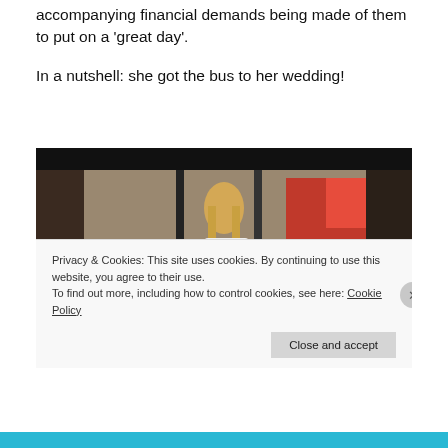accompanying financial demands being made of them to put on a 'great day'.
In a nutshell: she got the bus to her wedding!
[Figure (photo): A woman in a white wedding dress with long blonde hair standing in front of a bus window with colorful advertisements/displays visible through the glass. She is holding what appears to be gift bags.]
Privacy & Cookies: This site uses cookies. By continuing to use this website, you agree to their use.
To find out more, including how to control cookies, see here: Cookie Policy
Close and accept